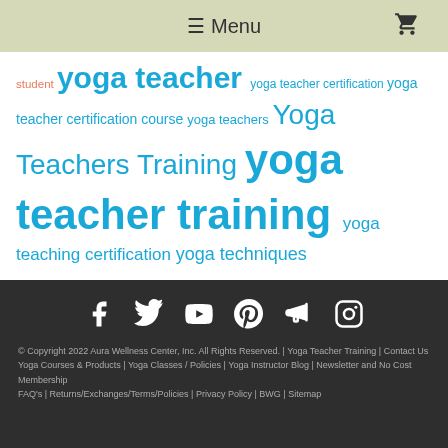☰ Menu 🛒
student yoga teacher yoga teacher certification yoga teacher certification course yoga teachers Yoga Teachers Training yoga teacher training yoga teaching certification yoga techniques yoga training
[Figure (other): Social media icons row: Facebook, Twitter, YouTube, Pinterest, Megaphone/Announcement, Instagram]
© Copyright 2022 Aura Wellness Center, Inc. All Rights Reserved. | Yoga Teacher Training | Contact Us
Yoga Courses & Products | Yoga Classes / Policies | Yoga Instructor Blog | Newsletter and No Cost Membership
FAQ's | Returns/Exchanges/Terms/Policies | Privacy Policy | BWG | Sitemap